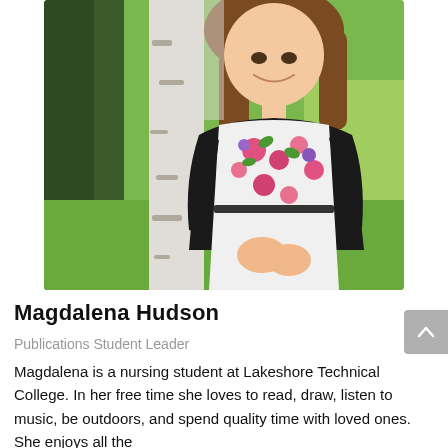[Figure (photo): Young woman with long brown hair wearing a white floral dress with black cardigan, standing next to a birch tree outdoors in a green setting, smiling at camera.]
Magdalena Hudson
Publications Student Leader
Magdalena is a nursing student at Lakeshore Technical College. In her free time she loves to read, draw, listen to music, be outdoors, and spend quality time with loved ones. She enjoys all the